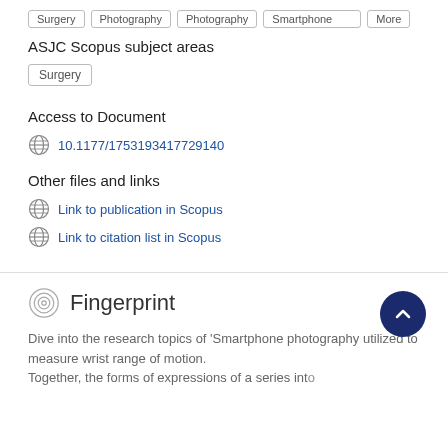ASJC Scopus subject areas
Surgery
Access to Document
10.1177/1753193417729140
Other files and links
Link to publication in Scopus
Link to citation list in Scopus
Fingerprint
Dive into the research topics of 'Smartphone photography utilized to measure wrist range of motion. Together, the forms of a series of expressions of a series.